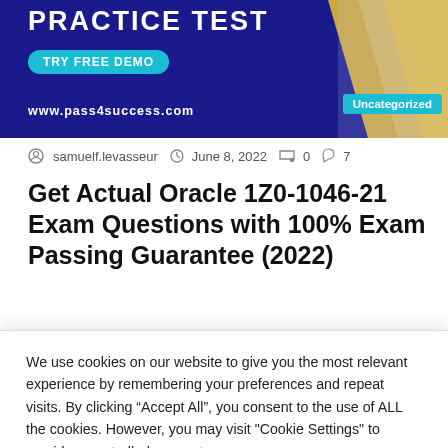[Figure (screenshot): Banner advertisement for Pass4Success practice test website with dark blue background, 'PRACTICE TEST' heading, 'TRY FREE DEMO' cyan button, 'www.pass4success.com' text, diagonal yellow/white stripes on right, and 'Uncategorized' cyan badge.]
samuelf.levasseur   June 8, 2022   0   7
Get Actual Oracle 1Z0-1046-21 Exam Questions with 100% Exam Passing Guarantee (2022)
Pass Exam With Oracle 1Z0-1046-21 Dumps and Improve Your Job Prospects Oracle 1Z0-1046-21 exams are important in every person's life…
We use cookies on our website to give you the most relevant experience by remembering your preferences and repeat visits. By clicking "Accept All", you consent to the use of ALL the cookies. However, you may visit "Cookie Settings" to provide a controlled consent.
Cookie Settings   Accept All